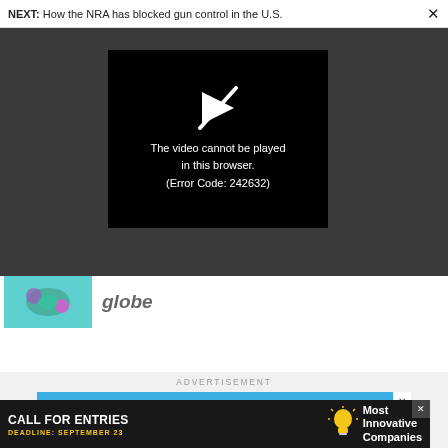NEXT: How the NRA has blocked gun control in the U.S.
[Figure (screenshot): Video player error screen on dark grey background. Black box shows a crossed-out play icon and text: 'The video cannot be played in this browser. (Error Code: 242632)']
globe
ADVERTISEMENT
[Figure (screenshot): Blue advertisement banner: 'Get the Future of Business on Your Mobile Device Today!']
[Figure (screenshot): Black advertisement banner: 'CALL FOR ENTRIES DEADLINE: SEPTEMBER 23' with lightbulb icon and 'Most Innovative Companies']